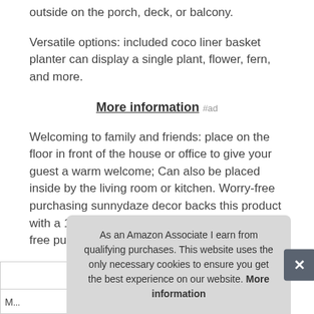outside on the porch, deck, or balcony.
Versatile options: included coco liner basket planter can display a single plant, flower, fern, and more.
More information #ad
Welcoming to family and friends: place on the floor in front of the house or office to give your guest a warm welcome; Can also be placed inside by the living room or kitchen. Worry-free purchasing sunnydaze decor backs this product with a 1-year manufacturer's warranty for worry-free purchasing.
| M... |
| --- |
|  |
As an Amazon Associate I earn from qualifying purchases. This website uses the only necessary cookies to ensure you get the best experience on our website. More information